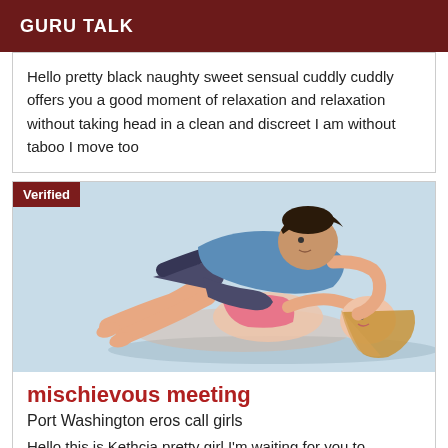GURU TALK
Hello pretty black naughty sweet sensual cuddly cuddly offers you a good moment of relaxation and relaxation without taking head in a clean and discreet I am without taboo I move too
[Figure (illustration): Illustration of a couple lying down embracing and kissing, cartoon style, with blue background. A 'Verified' badge is overlaid on the top left corner.]
mischievous meeting
Port Washington eros call girls
Hello this is Kethcia pretty girl I'm waiting for you to spend a moment of fun in joy I am very romantic and